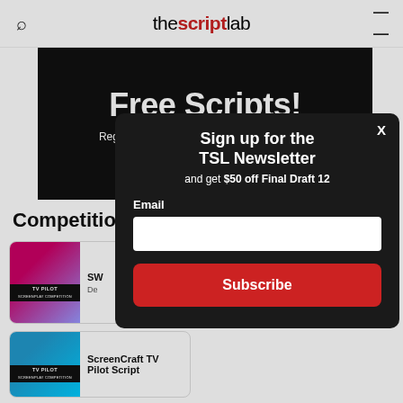the scriptlab
Free Scripts!
Register to gain access to over 2,000 scripts from Holl...
Competitions
[Figure (illustration): TV Pilot Screenplay Competition card with pink/purple gradient image and badge]
SW...
De...
[Figure (illustration): ScreenCraft TV Pilot Script card with blue gradient image]
ScreenCraft TV Pilot Script
Sign up for the TSL Newsletter
and get $50 off Final Draft 12
Email
Subscribe